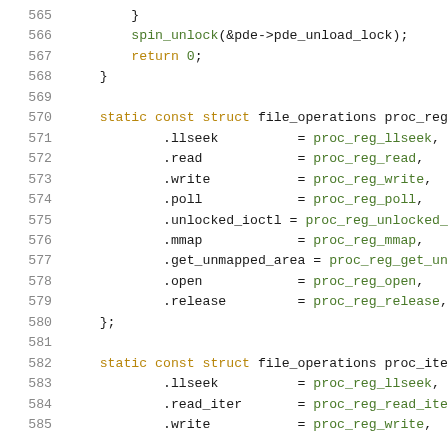565    }
566        spin_unlock(&pde->pde_unload_lock);
567        return 0;
568    }
569
570    static const struct file_operations proc_reg_fi...
571        .llseek          = proc_reg_llseek,
572        .read            = proc_reg_read,
573        .write           = proc_reg_write,
574        .poll            = proc_reg_poll,
575        .unlocked_ioctl  = proc_reg_unlocked_ioct...
576        .mmap            = proc_reg_mmap,
577        .get_unmapped_area = proc_reg_get_unmapp...
578        .open            = proc_reg_open,
579        .release         = proc_reg_release,
580    };
581
582    static const struct file_operations proc_iter_f...
583        .llseek          = proc_reg_llseek,
584        .read_iter       = proc_reg_read_iter,
585        .write           = proc_reg_write,